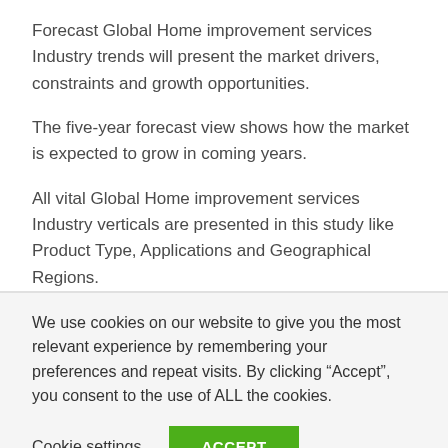Forecast Global Home improvement services Industry trends will present the market drivers, constraints and growth opportunities.
The five-year forecast view shows how the market is expected to grow in coming years.
All vital Global Home improvement services Industry verticals are presented in this study like Product Type, Applications and Geographical Regions.
We use cookies on our website to give you the most relevant experience by remembering your preferences and repeat visits. By clicking “Accept”, you consent to the use of ALL the cookies.
Cookie settings
ACCEPT